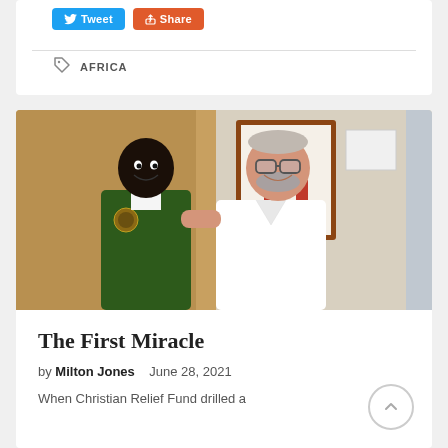[Figure (other): Social media share buttons: Tweet (blue Twitter button) and Share (red/orange button)]
AFRICA
[Figure (photo): Photo of a young African student in a green school uniform standing next to an older Caucasian man in a white polo shirt, with a framed portrait on the wall behind them]
The First Miracle
by Milton Jones   June 28, 2021
When Christian Relief Fund drilled a